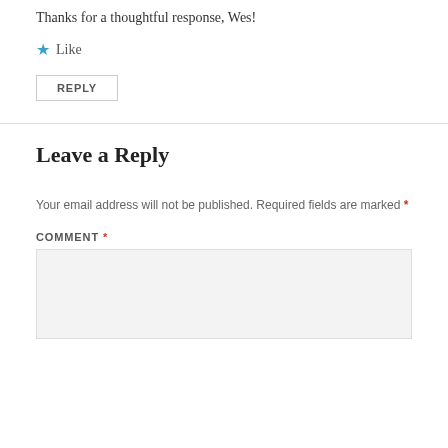Thanks for a thoughtful response, Wes!
★ Like
REPLY
Leave a Reply
Your email address will not be published. Required fields are marked *
COMMENT *